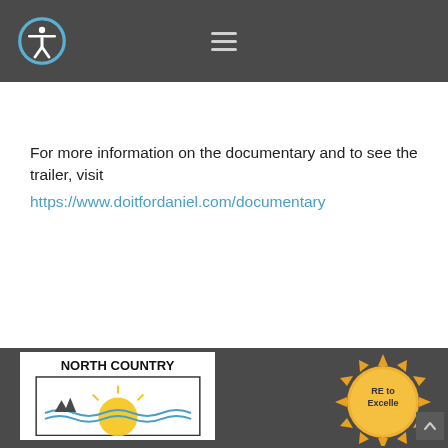Navigation header with accessibility icon and hamburger menu
For more information on the documentary and to see the trailer, visit https://www.doitfordaniel.com/documentary
[Figure (logo): North Country logo with sun and landscape illustration in white box]
[Figure (logo): RE to Excellence award badge, partial view, gold sunburst design with text]
Footer bar with North Country logo and Excellence badge